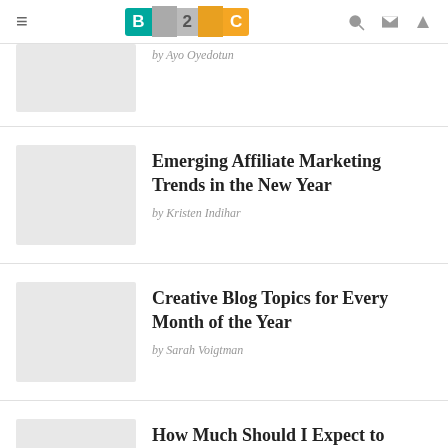B2C
by Ayo Oyedotun
Emerging Affiliate Marketing Trends in the New Year
by Kristen Indihar
Creative Blog Topics for Every Month of the Year
by Sarah Voigtman
How Much Should I Expect to Spend on Digital Marketing?
by Dan Moyle